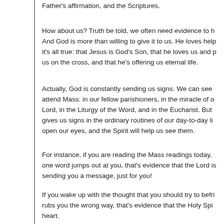Father's affirmation, and the Scriptures.
How about us? Truth be told, we often need evidence to h... And God is more than willing to give it to us. He loves help... it's all true: that Jesus is God's Son, that he loves us and p... us on the cross, and that he's offering us eternal life.
Actually, God is constantly sending us signs. We can see ... attend Mass: in our fellow parishioners, in the miracle of o... Lord, in the Liturgy of the Word, and in the Eucharist. But ... gives us signs in the ordinary routines of our day-to-day li... open our eyes, and the Spirit will help us see them.
For instance, if you are reading the Mass readings today, ... one word jumps out at you, that's evidence that the Lord is... sending you a message, just for you!
If you wake up with the thought that you should try to befri... rubs you the wrong way, that's evidence that the Holy Spi... heart.